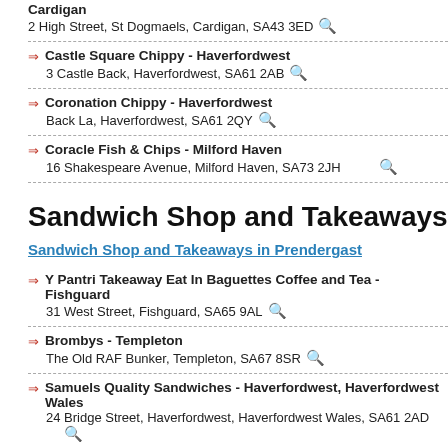Cardigan
2 High Street, St Dogmaels, Cardigan, SA43 3ED
Castle Square Chippy - Haverfordwest
3 Castle Back, Haverfordwest, SA61 2AB
Coronation Chippy - Haverfordwest
Back La, Haverfordwest, SA61 2QY
Coracle Fish & Chips - Milford Haven
16 Shakespeare Avenue, Milford Haven, SA73 2JH
Sandwich Shop and Takeaways
Sandwich Shop and Takeaways in Prendergast
Y Pantri Takeaway Eat In Baguettes Coffee and Tea - Fishguard
31 West Street, Fishguard, SA65 9AL
Brombys - Templeton
The Old RAF Bunker, Templeton, SA67 8SR
Samuels Quality Sandwiches - Haverfordwest, Haverfordwest Wales
24 Bridge Street, Haverfordwest, Haverfordwest Wales, SA61 2AD